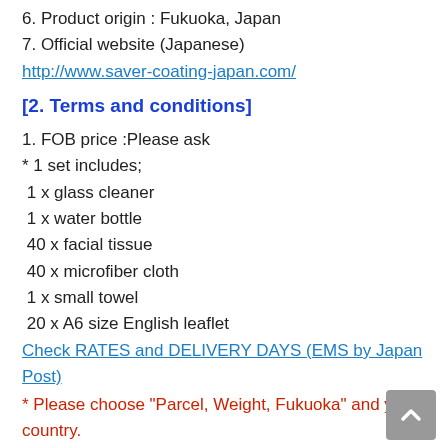6. Product origin : Fukuoka, Japan
7. Official website (Japanese)
http://www.saver-coating-japan.com/
[2. Terms and conditions]
1. FOB price :Please ask
* 1 set includes;
1 x glass cleaner
1 x water bottle
40 x facial tissue
40 x microfiber cloth
1 x small towel
20 x A6 size English leaflet
Check RATES and DELIVERY DAYS (EMS by Japan Post)
* Please choose "Parcel, Weight, Fukuoka" and your country.